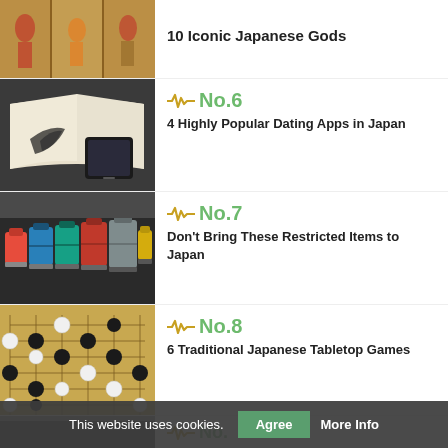[Figure (photo): Japanese art/painting thumbnail (top, partially cut off)]
10 Iconic Japanese Gods
[Figure (photo): Dating apps – phone and book thumbnail]
No.6
4 Highly Popular Dating Apps in Japan
[Figure (photo): Colorful luggage/suitcases thumbnail]
No.7
Don't Bring These Restricted Items to Japan
[Figure (photo): Go board game with black and white stones thumbnail]
No.8
6 Traditional Japanese Tabletop Games
[Figure (photo): Partially visible bottom thumbnail]
No.
7 Bugs Lurking in the Japanese...
This website uses cookies.  Agree  More Info